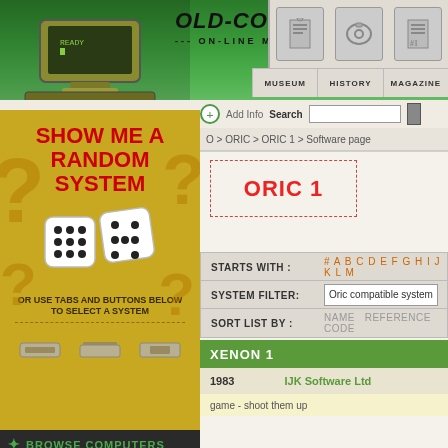OLD-COMPUTERS.COM — ON-LINE MUSEUM SINCE 1995
MUSEUM  HISTORY  MAGAZINE
Add Info  Search
O > ORIC > ORIC 1 > Software page
[Figure (screenshot): Show Me A Random System panel with dice graphic and question marks on yellow-gold background]
OR USE TABS AND BUTTONS BELOW TO SELECT A SYSTEM
BROWSE COMPUTERS
BY NAME
ORIC 1
STARTS WITH : # A B C D E F G H I J K L M
SYSTEM FILTER: Oric compatible system
SORT LIST BY : NAME  REFERENCE CODE
XENON 1
1983   IJK Software Ltd
game - shoot them up